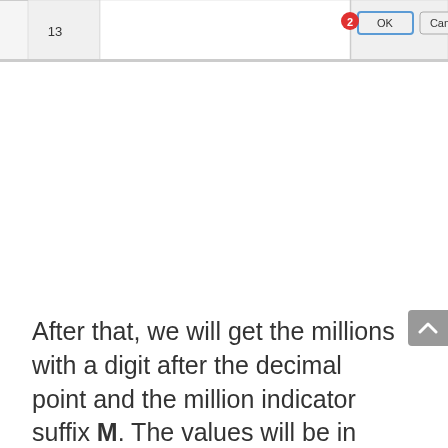[Figure (screenshot): Screenshot of a spreadsheet dialog showing row 13 with an OK button highlighted by a red circle labeled 2, and a Cancel button beside it]
After that, we will get the millions with a digit after the decimal point and the million indicator suffix M. The values will be in Number format so you can do any type of calculations.